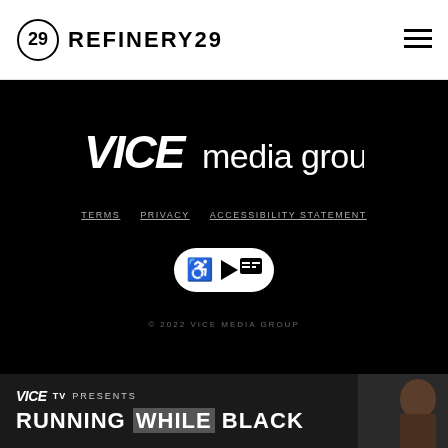REFINERY29
[Figure (logo): VICE media group logo in white on black background]
TERMS
PRIVACY
ACCESSIBILITY STATEMENT
[Figure (logo): Accessibility icon badge showing wheelchair and caption symbols]
© 2022 VICE MEDIA GROUP
[Figure (screenshot): VICE TV PRESENTS RUNNING WHILE BLACK advertisement banner with a person's face]